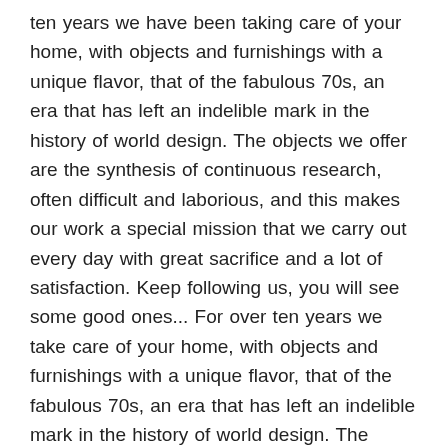ten years we have been taking care of your home, with objects and furnishings with a unique flavor, that of the fabulous 70s, an era that has left an indelible mark in the history of world design. The objects we offer are the synthesis of continuous research, often difficult and laborious, and this makes our work a special mission that we carry out every day with great sacrifice and a lot of satisfaction. Keep following us, you will see some good ones... For over ten years we take care of your home, with objects and furnishings with a unique flavor, that of the fabulous 70s, an era that has left an indelible mark in the history of world design. The objects we propose are the synthesis of a continuous research, often difficult and difficult, and this makes our work a special mission that we carry out daily with great sacrifice and a lot of satisfaction. TERMS AND CONDITIONS / TERMS. The objects we propose belong to past eras and inevitably carry with them the signs of their past. So do not be rigid